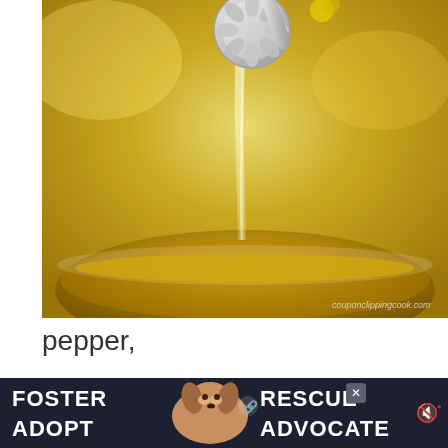[Figure (photo): Close-up photo of a decorative silver spoon pouring liquid into a glass bowl containing golden/yellow liquid, with watermark 'couponclippingcook.com']
pepper,
[Figure (photo): Close-up photo of a decorative silver measuring spoon with white powder (likely salt or sugar) being poured into a bowl with golden liquid]
[Figure (photo): Advertisement banner: 'FOSTER ADOPT' with dog image and 'RESCUE ADVOCATE' text on dark background with close button and mute icon]